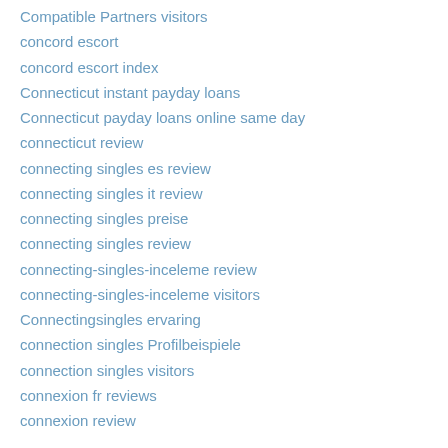Compatible Partners visitors
concord escort
concord escort index
Connecticut instant payday loans
Connecticut payday loans online same day
connecticut review
connecting singles es review
connecting singles it review
connecting singles preise
connecting singles review
connecting-singles-inceleme review
connecting-singles-inceleme visitors
Connectingsingles ervaring
connection singles Profilbeispiele
connection singles visitors
connexion fr reviews
connexion review